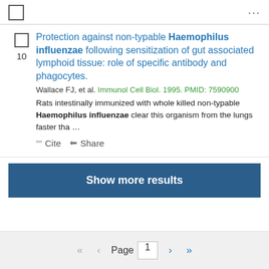Protection against non-typable Haemophilus influenzae following sensitization of gut associated lymphoid tissue: role of specific antibody and phagocytes.
Wallace FJ, et al. Immunol Cell Biol. 1995. PMID: 7590900
Rats intestinally immunized with whole killed non-typable Haemophilus influenzae clear this organism from the lungs faster tha …
Cite  Share
Show more results
Page 1